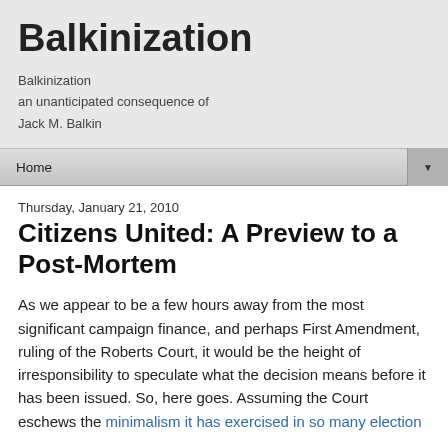Balkinization
Balkinization
an unanticipated consequence of
Jack M. Balkin
Home
Thursday, January 21, 2010
Citizens United: A Preview to a Post-Mortem
As we appear to be a few hours away from the most significant campaign finance, and perhaps First Amendment, ruling of the Roberts Court, it would be the height of irresponsibility to speculate what the decision means before it has been issued. So, here goes. Assuming the Court eschews the minimalism it has exercised in so many election